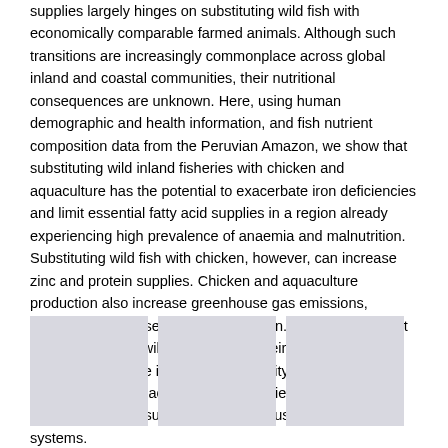supplies largely hinges on substituting wild fish with economically comparable farmed animals. Although such transitions are increasingly commonplace across global inland and coastal communities, their nutritional consequences are unknown. Here, using human demographic and health information, and fish nutrient composition data from the Peruvian Amazon, we show that substituting wild inland fisheries with chicken and aquaculture has the potential to exacerbate iron deficiencies and limit essential fatty acid supplies in a region already experiencing high prevalence of anaemia and malnutrition. Substituting wild fish with chicken, however, can increase zinc and protein supplies. Chicken and aquaculture production also increase greenhouse gas emissions, agricultural land use and eutrophication. Thus, policies that enable access to wild fisheries and their sustainable management while improving the quality, diversity and environmental impacts of farmed species will be instrumental in ensuring healthy and sustainable food systems.
[Figure (photo): First image placeholder (light gray rectangle)]
[Figure (photo): Second image placeholder (light gray rectangle)]
[Figure (photo): Third image placeholder (light gray rectangle)]